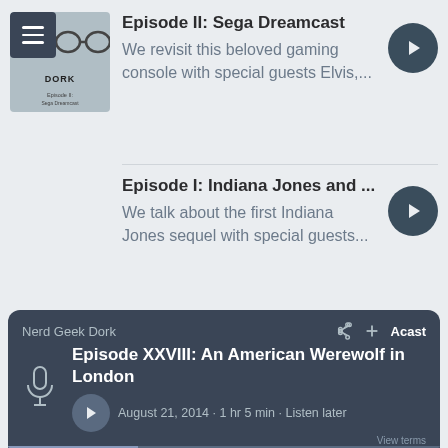[Figure (screenshot): Podcast app thumbnail for Nerd Geek Dork with hamburger menu icon overlay]
Episode II: Sega Dreamcast
We revisit this beloved gaming console with special guests Elvis,...
Episode I: Indiana Jones and ...
We talk about the first Indiana Jones sequel with special guests...
Nerd Geek Dork
Episode XXVIII: An American Werewolf in London
August 21, 2014 • 1 hr 5 min • Listen later
View terms